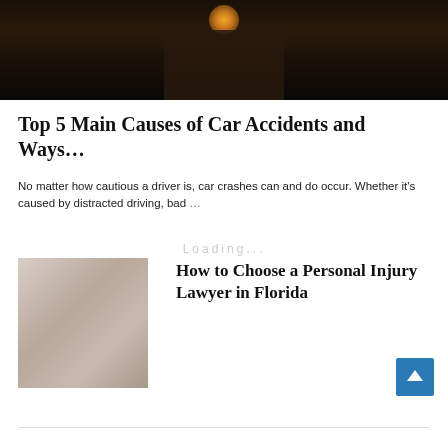[Figure (photo): Dark moody photo, likely showing a person in dark lighting with a warm glowing orb/light visible near the top]
Top 5 Main Causes of Car Accidents and Ways…
No matter how cautious a driver is, car crashes can and do occur. Whether it's caused by distracted driving, bad …
Loading...
[Figure (photo): Thumbnail image with neutral grey-brown tones, likely a lawyer or legal setting photo]
How to Choose a Personal Injury Lawyer in Florida